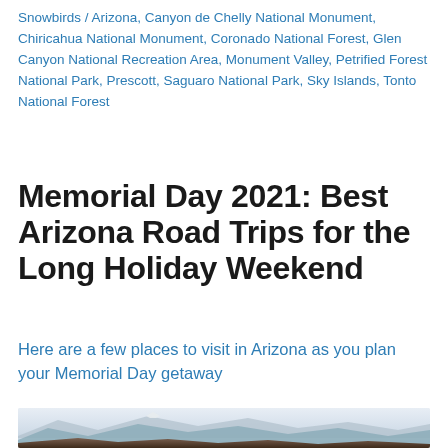Snowbirds / Arizona, Canyon de Chelly National Monument, Chiricahua National Monument, Coronado National Forest, Glen Canyon National Recreation Area, Monument Valley, Petrified Forest National Park, Prescott, Saguaro National Park, Sky Islands, Tonto National Forest
Memorial Day 2021: Best Arizona Road Trips for the Long Holiday Weekend
Here are a few places to visit in Arizona as you plan your Memorial Day getaway
[Figure (photo): Mountain landscape photo showing distant mountains with a hazy sky, rocky foreground terrain, panoramic Arizona landscape view]